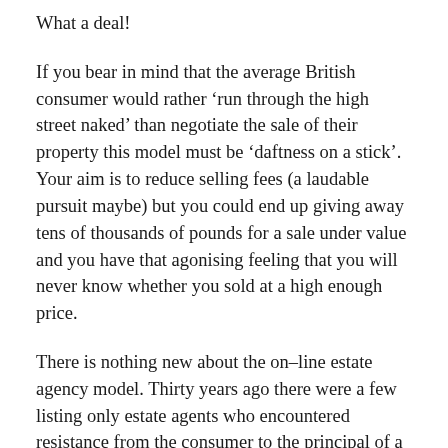What a deal!
If you bear in mind that the average British consumer would rather 'run through the high street naked' than negotiate the sale of their property this model must be 'daftness on a stick'. Your aim is to reduce selling fees (a laudable pursuit maybe) but you could end up giving away tens of thousands of pounds for a sale under value and you have that agonising feeling that you will never know whether you sold at a high enough price.
There is nothing new about the on-line estate agency model. Thirty years ago there were a few listing only estate agents who encountered resistance from the consumer to the principal of a 'listing only fee' and died a death after ten years.  So we wish them luck with this pursuit.
Despite conventional estate agency being considered one of the lowest esteemed professions, there is a reason why, in this Internet dependent age, 99% of consumers still choose to use them for a sale and purchase. In some things there are just no